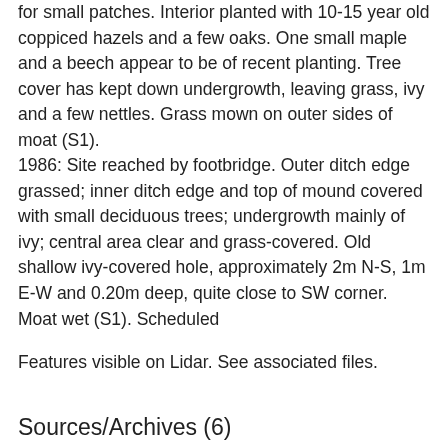for small patches. Interior planted with 10-15 year old coppiced hazels and a few oaks. One small maple and a beech appear to be of recent planting. Tree cover has kept down undergrowth, leaving grass, ivy and a few nettles. Grass mown on outer sides of moat (S1). 1986: Site reached by footbridge. Outer ditch edge grassed; inner ditch edge and top of mound covered with small deciduous trees; undergrowth mainly of ivy; central area clear and grass-covered. Old shallow ivy-covered hole, approximately 2m N-S, 1m E-W and 0.20m deep, quite close to SW corner. Moat wet (S1). Scheduled
Features visible on Lidar. See associated files.
Sources/Archives (6)
<M1> SSF37256 (No record type): SAM file:.
<R1> SSF59079 Index: Ipswich Museum, JRSMC card